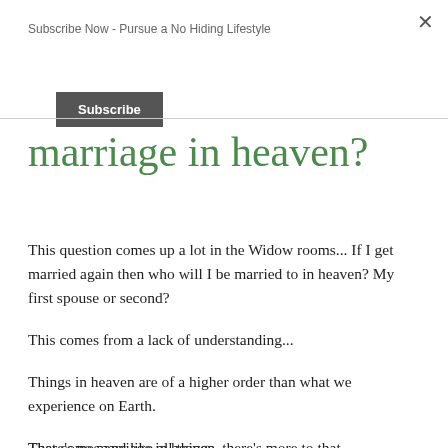Subscribe Now - Pursue a No Hiding Lifestyle
Subscribe
marriage in heaven?
This question comes up a lot in the Widow rooms... If I get married again then who will I be married to in heaven? My first spouse or second?
This comes from a lack of understanding...
Things in heaven are of a higher order than what we experience on Earth.
There's no marriage in heaven.
That comes and like all things, there's more to that...